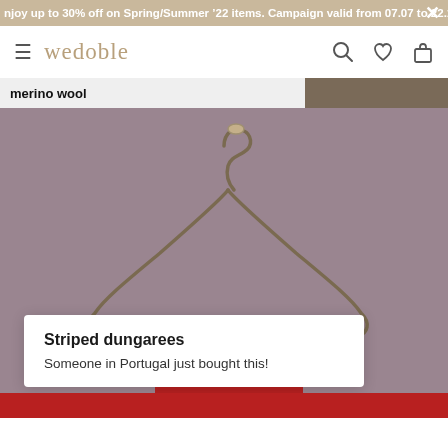njoy up to 30% off on Spring/Summer '22 items. Campaign valid from 07.07 to 22.07
wedoble
merino wool
[Figure (photo): A wire clothes hanger with wooden clothespins holding a red garment (striped dungarees), hanging against a mauve/purple-grey background]
Striped dungarees
Someone in Portugal just bought this!